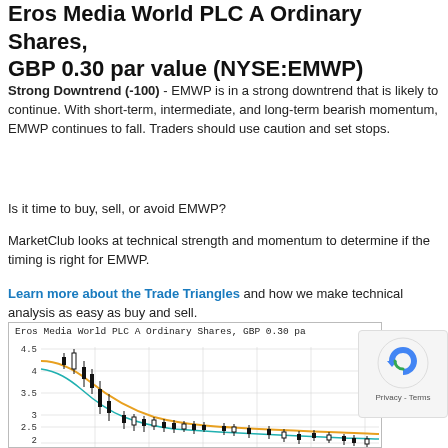Eros Media World PLC A Ordinary Shares, GBP 0.30 par value (NYSE:EMWP)
Strong Downtrend (-100) - EMWP is in a strong downtrend that is likely to continue. With short-term, intermediate, and long-term bearish momentum, EMWP continues to fall. Traders should use caution and set stops.
Is it time to buy, sell, or avoid EMWP?
MarketClub looks at technical strength and momentum to determine if the timing is right for EMWP.
Learn more about the Trade Triangles and how we make technical analysis as easy as buy and sell.
[Figure (continuous-plot): Candlestick price chart for Eros Media World PLC A Ordinary Shares, GBP 0.30 par value. Y-axis shows price levels from 2 to 4.5. The chart shows a downtrend with two moving average curves (teal/cyan and orange/yellow) both declining from upper-left to lower-right. Candlestick bars shown in black scattered throughout the chart.]